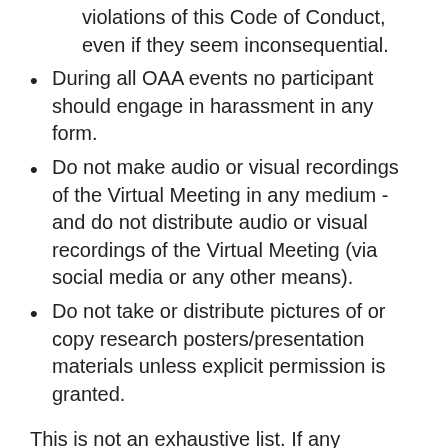violations of this Code of Conduct, even if they seem inconsequential.
During all OAA events no participant should engage in harassment in any form.
Do not make audio or visual recordings of the Virtual Meeting in any medium - and do not distribute audio or visual recordings of the Virtual Meeting (via social media or any other means).
Do not take or distribute pictures of or copy research posters/presentation materials unless explicit permission is granted.
This is not an exhaustive list. If any participant is found to be in breach of this code of conduct, the OAA may take any action they deem appropriate, including warning the offender or expulsion from the conference without a refund. Participants asked to stop any harassing behaviour are expected to